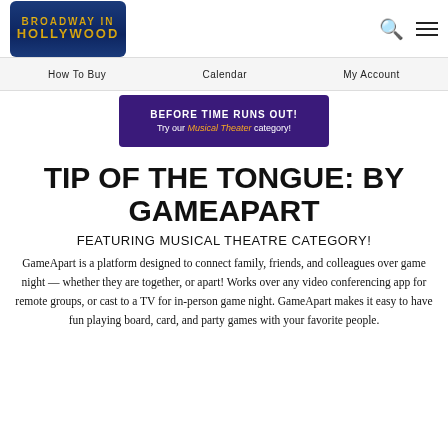Broadway in Hollywood | How To Buy | Calendar | My Account
[Figure (screenshot): Purple banner with text 'BEFORE TIME RUNS OUT! Try our Musical Theater category!']
TIP OF THE TONGUE: BY GAMEAPART
FEATURING MUSICAL THEATRE CATEGORY!
GameApart is a platform designed to connect family, friends, and colleagues over game night — whether they are together, or apart! Works over any video conferencing app for remote groups, or cast to a TV for in-person game night. GameApart makes it easy to have fun playing board, card, and party games with your favorite people.